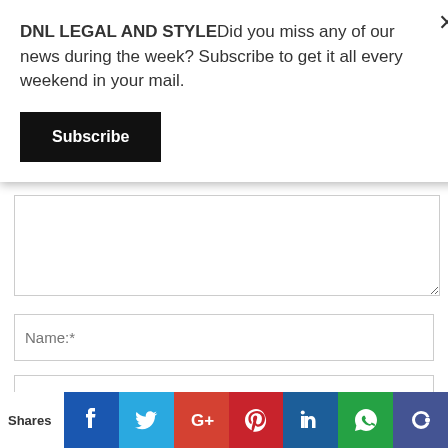DNL LEGAL AND STYLEDid you miss any of our news during the week? Subscribe to get it all every weekend in your mail.
Subscribe
Name:*
Email:*
Website:
Shares